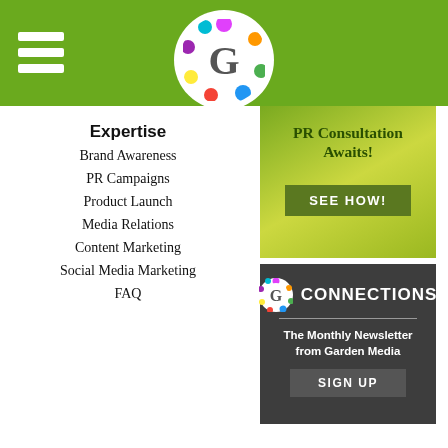Garden Media header with hamburger menu and G logo
[Figure (illustration): Green PR Consultation banner with text 'PR Consultation Awaits!' and 'SEE HOW!' button]
[Figure (illustration): Dark grey Connections newsletter box with G logo, title CONNECTIONS, subtitle 'The Monthly Newsletter from Garden Media', and SIGN UP button]
Expertise
Brand Awareness
PR Campaigns
Product Launch
Media Relations
Content Marketing
Social Media Marketing
FAQ